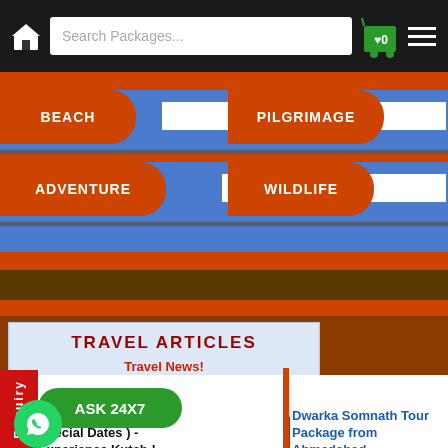[Figure (screenshot): Website header with home icon, search bar labeled 'Search Packages...', cart icon with 0 items, and hamburger menu icon on dark background]
[Figure (screenshot): Navigation category buttons: BEACH, PILGRIMAGE, ADVENTURE, WILDLIFE on blue/orange styled background]
TRAVEL ARTICLES
Travel News!
Enquiry
ASK 24X7
...ch Rann Otsav 2022- Special Dates ) - Experience Kutch !
Dwarka Somnath Tour Package from Ahmedabad